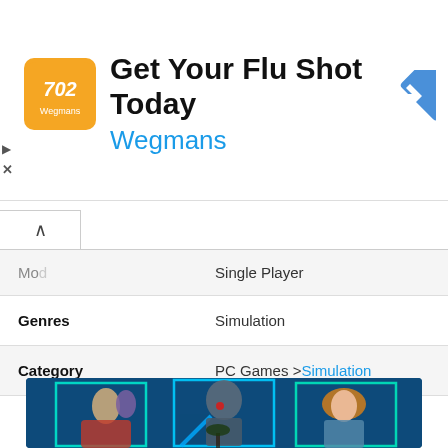[Figure (other): Advertisement banner for Wegmans flu shot. Shows Wegmans logo icon (orange square with stylized design), text 'Get Your Flu Shot Today' in bold, 'Wegmans' in blue, and a blue navigation arrow icon on the right. Small play and X controls on the left edge.]
| Mod | Single Player |
| Genres | Simulation |
| Category | PC Games >Simulation |
[Figure (illustration): Game artwork showing three illustrated character cards on a dark blue ocean/sci-fi background. Left card shows a woman with another dark-haired figure; center card shows a robotic/armored figure with a glowing red orb and light beam; right card shows a woman with red hair. Cyan/teal glowing card frames.]